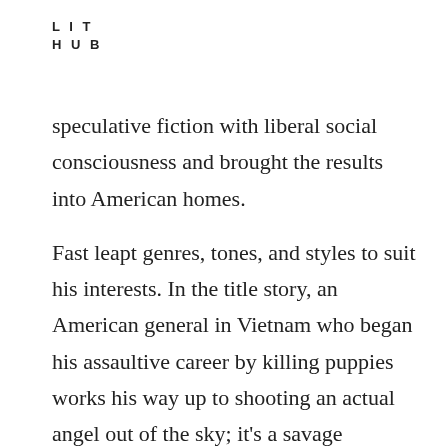LIT
HUB
speculative fiction with liberal social consciousness and brought the results into American homes.
Fast leapt genres, tones, and styles to suit his interests. In the title story, an American general in Vietnam who began his assaultive career by killing puppies works his way up to shooting an actual angel out of the sky; it’s a savage portrayal of military swagger and heedlessness, the prose equivalent of a satirical protest song. “Tomorrow’s Wall Street Journal” features a guest appearance by the devil, who—Fast would have